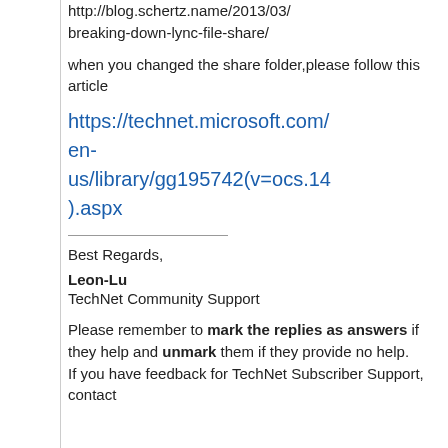http://blog.schertz.name/2013/03/breaking-down-lync-file-share/
when you changed the share folder,please follow this article
https://technet.microsoft.com/en-us/library/gg195742(v=ocs.14).aspx
Best Regards,
Leon-Lu
TechNet Community Support
Please remember to mark the replies as answers if they help and unmark them if they provide no help. If you have feedback for TechNet Subscriber Support, contact